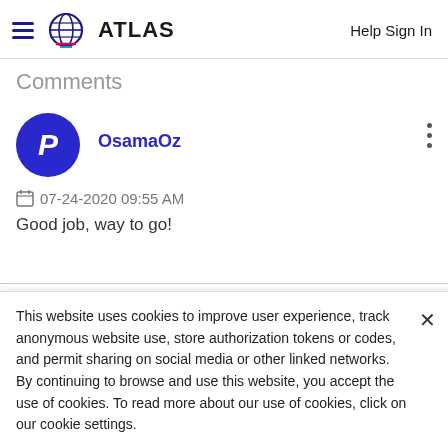ATLAS   Help Sign In
Comments
OsamaOz
07-24-2020 09:55 AM
Good job, way to go!
This website uses cookies to improve user experience, track anonymous website use, store authorization tokens or codes, and permit sharing on social media or other linked networks. By continuing to browse and use this website, you accept the use of cookies. To read more about our use of cookies, click on our cookie settings.